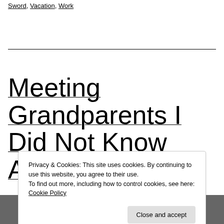Sword, Vacation, Work
Meeting Grandparents I Did Not Know About?
Privacy & Cookies: This site uses cookies. By continuing to use this website, you agree to their use. To find out more, including how to control cookies, see here: Cookie Policy
Close and accept
[Figure (photo): Bottom portion of a photo showing a smartphone screen with app icons including a yellow icon and other colored icons]